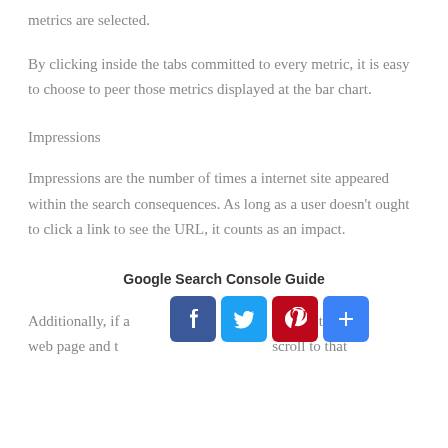metrics are selected.
By clicking inside the tabs committed to every metric, it is easy to choose to peer those metrics displayed at the bar chart.
Impressions
Impressions are the number of times a internet site appeared within the search consequences. As long as a user doesn't ought to click a link to see the URL, it counts as an impact.
Google Search Console Guide
Additionally, if a lowest of the web page and t scroll to that